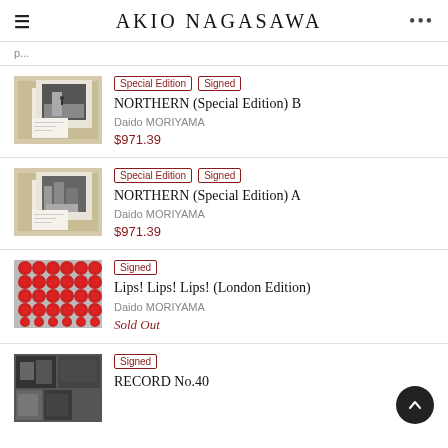AKIO NAGASAWA
NORTHERN (Special Edition) B | Special Edition Signed | Daido MORIYAMA | $971.39
NORTHERN (Special Edition) A | Special Edition Signed | Daido MORIYAMA | $971.39
Lips! Lips! Lips! (London Edition) | Signed | Daido MORIYAMA | Sold Out
RECORD No.40 | Signed | Daido MORIYAMA